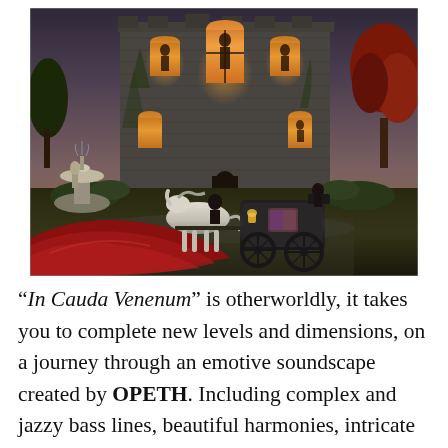[Figure (illustration): Album artwork illustration showing a gothic stone mansion at dusk with glowing warm windows, silhouettes of figures visible inside. A white horse attached to a dark carriage stands in front. A stone fountain is to the left. Autumn trees frame the right side. Red draped fabric flows in the lower foreground.]
"In Cauda Venenum" is otherworldly, it takes you to complete new levels and dimensions, on a journey through an emotive soundscape created by OPETH. Including complex and jazzy bass lines, beautiful harmonies, intricate guitar sections, killer riffs, the album is